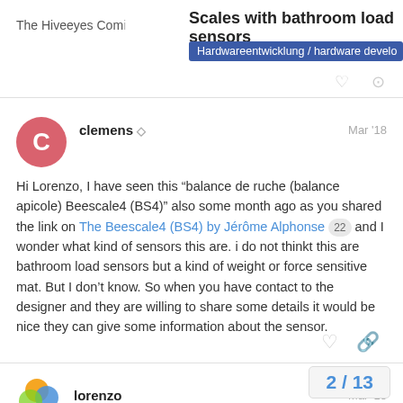The Hiveeyes Com | Scales with bathroom load sensors | Hardwareentwicklung / hardware devel...
clemens  Mar '18
Hi Lorenzo, I have seen this “balance de ruche (balance apicole) Beescale4 (BS4)” also some month ago as you shared the link on The Beescale4 (BS4) by Jérôme Alphonse 22 and I wonder what kind of sensors this are. i do not thinkt this are bathroom load sensors but a kind of weight or force sensitive mat. But I don’t know. So when you have contact to the designer and they are willing to share some details it would be nice they can give some information about the sensor.
lorenzo  Mar '18
2 / 13